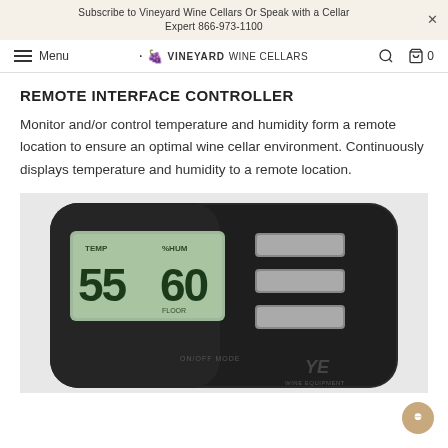Subscribe to Vineyard Wine Cellars Or Speak with a Cellar Expert 866-973-1100
Menu · VINEYARD WINE CELLARS [search] [cart] 0
REMOTE INTERFACE CONTROLLER
Monitor and/or control temperature and humidity form a remote location to ensure an optimal wine cellar environment. Continuously displays temperature and humidity to a remote location.
[Figure (photo): Close-up photo of a black remote interface controller device with an LCD display showing '55' and '60', and three rectangular buttons on the right side. The device has a 'YE' logo at the bottom right.]